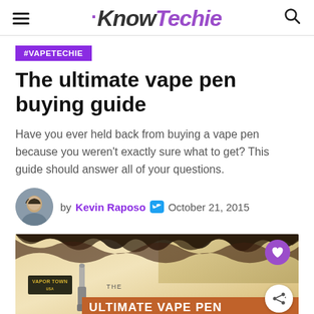KnowTechie
#VAPETECHIE
The ultimate vape pen buying guide
Have you ever held back from buying a vape pen because you weren't exactly sure what to get? This guide should answer all of your questions.
by Kevin Raposo  October 21, 2015
[Figure (photo): Featured article image: burned paper effect with 'THE ULTIMATE VAPE PEN' text overlay, Vapor Town logo badge, and a vape pen illustration.]